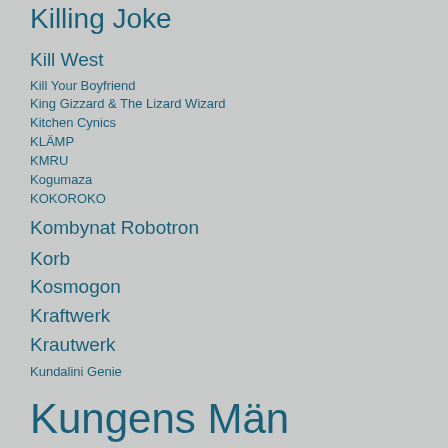Killing Joke
Kill West
Kill Your Boyfriend
King Gizzard & The Lizard Wizard
Kitchen Cynics
KLÄMP
KMRU
Kogumaza
KOKOROKO
Kombynat Robotron
Korb
Kosmogon
Kraftwerk
Krautwerk
Kundalini Genie
Kungens Män
KURO
Kuzich
Kvartetten Som Sprängde
Kü…